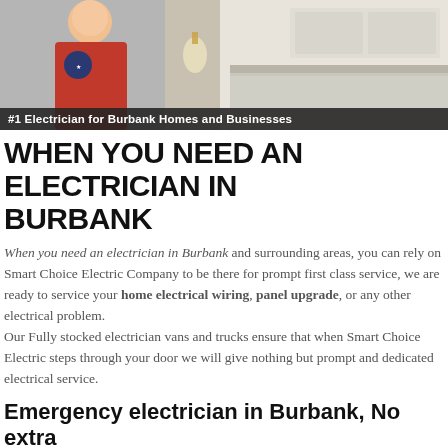[Figure (photo): Hero image showing an electrician in a red shirt on the left and a kitchen/interior on the right, with a dark banner overlay reading '#1 Electrician for Burbank Homes and Businesses']
WHEN YOU NEED AN ELECTRICIAN IN BURBANK
When you need an electrician in Burbank and surrounding areas, you can rely on Smart Choice Electric Company to be there for prompt first class service, we are ready to service your home electrical wiring, panel upgrade, or any other electrical problem. Our Fully stocked electrician vans and trucks ensure that when Smart Choice Electric steps through your door we will give nothing but prompt and dedicated electrical service.
Emergency electrician in Burbank, No extra charge
There is no extra charge if your electrical emergency in Burbank